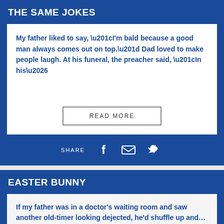THE SAME JOKES
My father liked to say, “I’m bald because a good man always comes out on top.” Dad loved to make people laugh. At his funeral, the preacher said, “In his…
READ MORE
SHARE
EASTER BUNNY
If my father was in a doctor’s waiting room and saw another old-timer looking dejected, he’d shuffle up and…